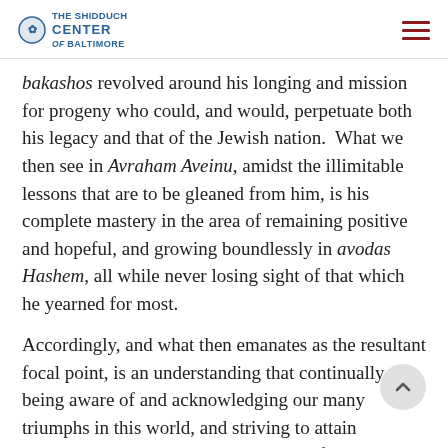The Shidduch Center of Baltimore
bakashos revolved around his longing and mission for progeny who could, and would, perpetuate both his legacy and that of the Jewish nation.  What we then see in Avraham Aveinu, amidst the illimitable lessons that are to be gleaned from him, is his complete mastery in the area of remaining positive and hopeful, and growing boundlessly in avodas Hashem, all while never losing sight of that which he yearned for most.
Accordingly, and what then emanates as the resultant focal point, is an understanding that continually being aware of and acknowledging our many triumphs in this world, and striving to attain whatever hopes and d that we lack in life, can, and must, coexist side-by-side – rather than detracting from each other. And when